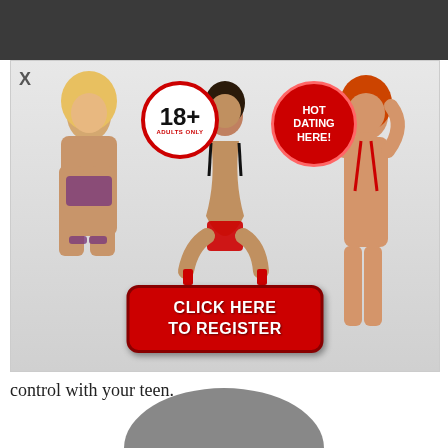[Figure (illustration): Adult dating advertisement popup with '18+ Adults Only' badge, 'HOT DATING HERE!' badge, three female figures, and a red 'CLICK HERE TO REGISTER' button on a light gray background, with a close X button in top-left corner.]
control with your teen.